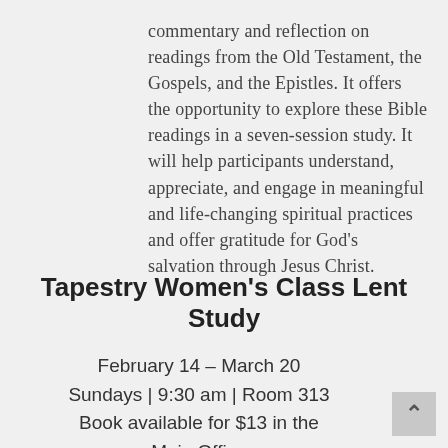commentary and reflection on readings from the Old Testament, the Gospels, and the Epistles. It offers the opportunity to explore these Bible readings in a seven-session study. It will help participants understand, appreciate, and engage in meaningful and life-changing spiritual practices and offer gratitude for God's salvation through Jesus Christ.
Tapestry Women's Class Lent Study
February 14 – March 20 Sundays | 9:30 am | Room 313 Book available for $13 in the Main Office "24 Hours That Changed the World" by Adam Hamilton